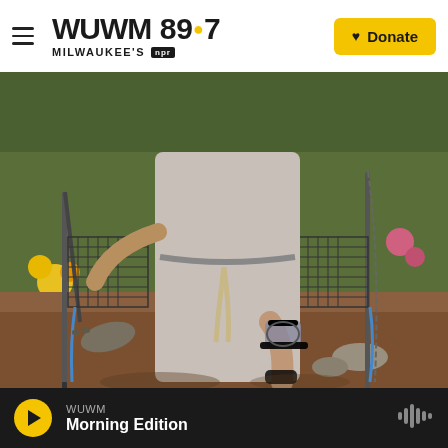WUWM 89.7 Milwaukee's NPR — Donate
[Figure (photo): A person with a knee brace using a metal walker/mobility frame, wearing a white robe and sandals, standing on dirt ground with flowers and greenery in the background.]
WUWM — Morning Edition (player bar with play button and waveform icon)